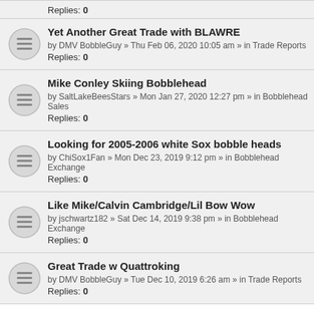Replies: 0
Yet Another Great Trade with BLAWRE
by DMV BobbleGuy » Thu Feb 06, 2020 10:05 am » in Trade Reports
Replies: 0
Mike Conley Skiing Bobblehead
by SaltLakeBeesStars » Mon Jan 27, 2020 12:27 pm » in Bobblehead Sales
Replies: 0
Looking for 2005-2006 white Sox bobble heads
by ChiSox1Fan » Mon Dec 23, 2019 9:12 pm » in Bobblehead Exchange
Replies: 0
Like Mike/Calvin Cambridge/Lil Bow Wow
by jschwartz182 » Sat Dec 14, 2019 9:38 pm » in Bobblehead Exchange
Replies: 0
Great Trade w Quattroking
by DMV BobbleGuy » Tue Dec 10, 2019 6:26 am » in Trade Reports
Replies: 0